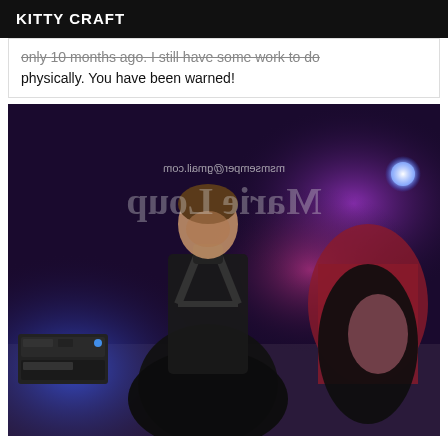KITTY CRAFT
only 10 months ago. I still have some work to do physically. You have been warned!
[Figure (photo): A person wearing a black latex outfit in a dimly lit room with purple/blue lighting. A mirrored watermark reads 'Marie Loup' and 'msmsemper@gmail.com' in the upper portion of the image.]